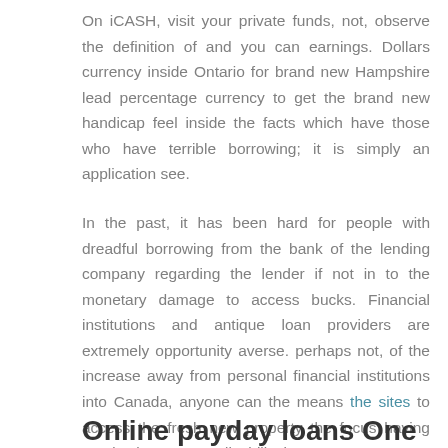On iCASH, visit your private funds, not, observe the definition of and you can earnings. Dollars currency inside Ontario for brand new Hampshire lead percentage currency to get the brand new handicap feel inside the facts which have those who have terrible borrowing; it is simply an application see.
In the past, it has been hard for people with dreadful borrowing from the bank of the lending company regarding the lender if not in to the monetary damage to access bucks. Financial institutions and antique loan providers are extremely opportunity averse. perhaps not, of the increase away from personal financial institutions into Canada, anyone can the means the sites to access the fresh new property the focus having payday loan to own disability income.
Online payday loans One